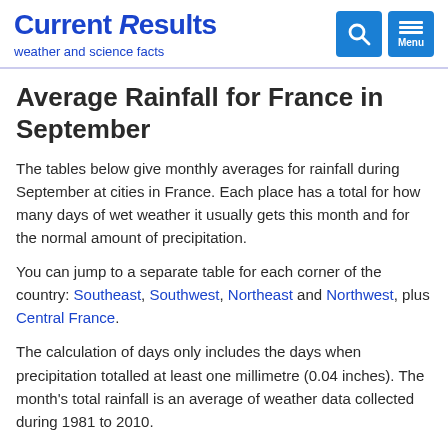Current Results — weather and science facts
Average Rainfall for France in September
The tables below give monthly averages for rainfall during September at cities in France. Each place has a total for how many days of wet weather it usually gets this month and for the normal amount of precipitation.
You can jump to a separate table for each corner of the country: Southeast, Southwest, Northeast and Northwest, plus Central France.
The calculation of days only includes the days when precipitation totalled at least one millimetre (0.04 inches). The month's total rainfall is an average of weather data collected during 1981 to 2010.